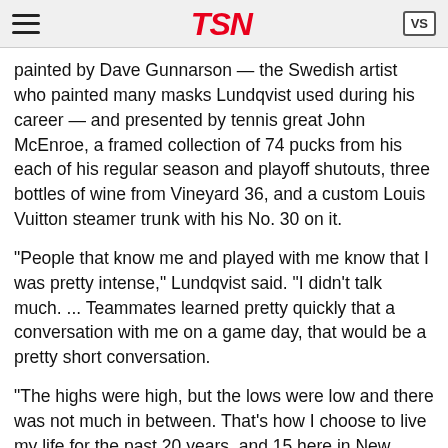TSN
painted by Dave Gunnarson — the Swedish artist who painted many masks Lundqvist used during his career — and presented by tennis great John McEnroe, a framed collection of 74 pucks from his each of his regular season and playoff shutouts, three bottles of wine from Vineyard 36, and a custom Louis Vuitton steamer trunk with his No. 30 on it.
“People that know me and played with me know that I was pretty intense,” Lundqvist said. "I didn't talk much. ... Teammates learned pretty quickly that a conversation with me on a game day, that would be a pretty short conversation.
“The highs were high, but the lows were low and there was not much in between. That's how I choose to live my life for the past 20 years, and 15 here in New York, never really changed. Playing well and trying to help the team win, that